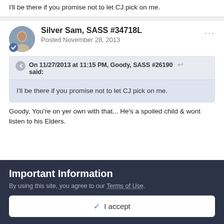I'll be there if you promise not to let CJ pick on me.
Silver Sam, SASS #34718L
Posted November 28, 2013
On 11/27/2013 at 11:15 PM, Goody, SASS #26190 said:
I'll be there if you promise not to let CJ pick on me.
Goody, You're on yer own with that... He's a spoiled child & wont listen to his Elders.
Important Information
By using this site, you agree to our Terms of Use.
✓  I accept